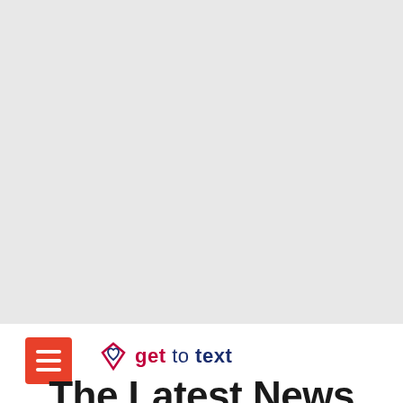[Figure (other): Large light gray placeholder/image area occupying the top portion of the page]
[Figure (logo): Get to Text logo with hamburger menu button (red square with three white lines) on the left, followed by the Get to Text logo icon (heart/diamond outline in red and blue) and the brand name 'get to text' in red and navy blue]
The Latest News